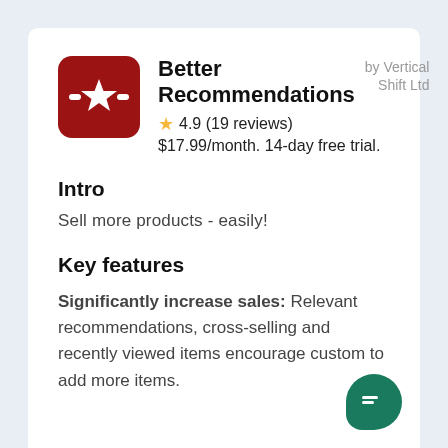[Figure (logo): Red rounded square app icon with a white star and horizontal dashes on either side of the star]
Better Recommendations
by Vertical Shift Ltd
4.9 (19 reviews)
$17.99/month. 14-day free trial.
Intro
Sell more products - easily!
Key features
Significantly increase sales: Relevant recommendations, cross-selling and recently viewed items encourage customers to add more items.